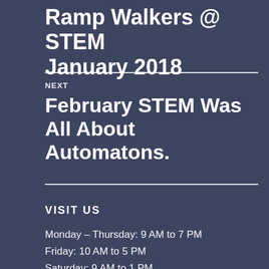Ramp Walkers @ STEM January 2018
NEXT
February STEM Was All About Automatons.
VISIT US
Monday – Thursday: 9 AM to 7 PM
Friday: 10 AM to 5 PM
Saturday: 9 AM to 1 PM